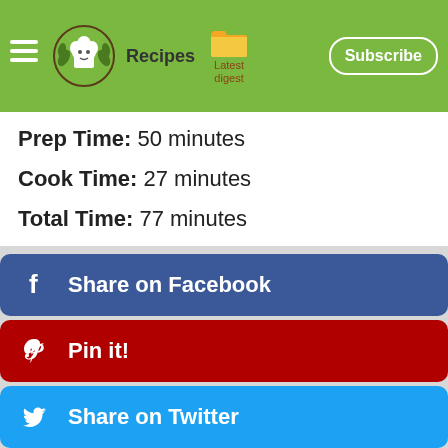Recipes | Latest digest | Subscribe
Prep Time: 50 minutes
Cook Time: 27 minutes
Total Time: 77 minutes
Click here for the recipe
[Figure (infographic): Like (heart), comment (speech bubble), and bookmark icons]
Share on Facebook
Pin it!
Share on Twitter